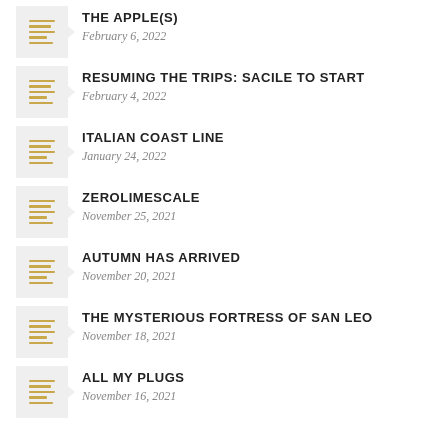THE APPLE(S) — February 6, 2022
RESUMING THE TRIPS: SACILE TO START — February 4, 2022
ITALIAN COAST LINE — January 24, 2022
ZEROLIMESCALE — November 25, 2021
AUTUMN HAS ARRIVED — November 20, 2021
THE MYSTERIOUS FORTRESS OF SAN LEO — November 18, 2021
ALL MY PLUGS — November 16, 2021